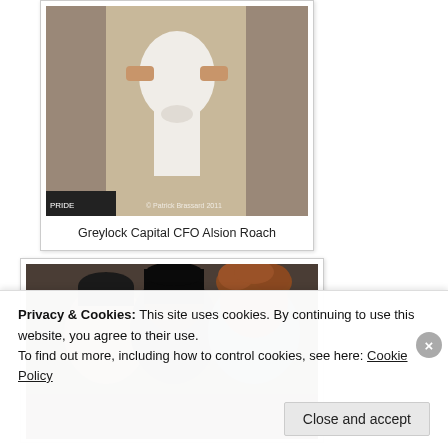[Figure (photo): Woman in white dress posing at an event with watermark 'Patrick Brassard 2011']
Greylock Capital CFO Alsion Roach
[Figure (photo): Three women posing together at an event]
Privacy & Cookies: This site uses cookies. By continuing to use this website, you agree to their use. To find out more, including how to control cookies, see here: Cookie Policy
Close and accept